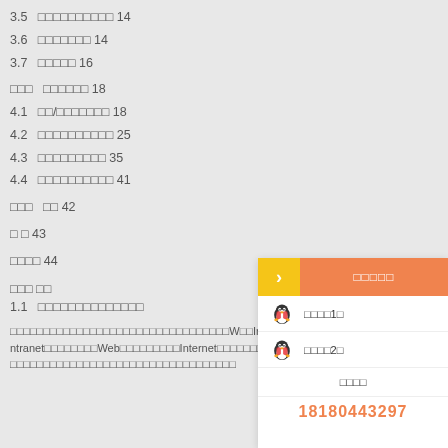3.5  □□□□□□□□□□ 14
3.6  □□□□□□□ 14
3.7  □□□□□ 16
□□□  □□□□□□ 18
4.1  □□/□□□□□□□ 18
4.2  □□□□□□□□□□ 25
4.3  □□□□□□□□□ 35
4.4  □□□□□□□□□□ 41
□□□  □□ 42
□ □ 43
□□□□ 44
□□□ □□
1.1  □□□□□□□□□□□□□□
□□□□□□□□□□□□□□□□□□□□□□□□□□□□□□□□□W□□Internet/Intranet□□□□□□□□Web□□□□□□□□□Internet□□□□□□□□□□□□□□□□□□□□□□□□□□□□□□□□□□□□□□□□□□□□□□
[Figure (infographic): QQ account login panel overlay with orange header, QQ penguin account entries, and phone number 18180443297]